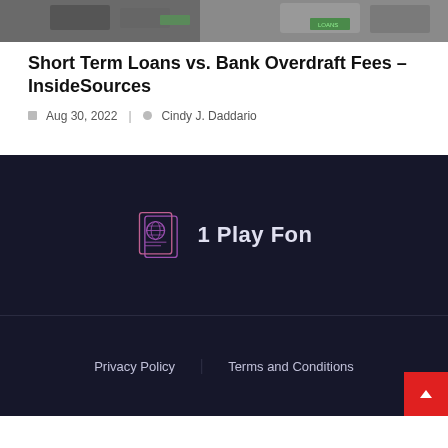[Figure (photo): Street-level photo showing loan shop storefronts with cars parked outside]
Short Term Loans vs. Bank Overdraft Fees – InsideSources
Aug 30, 2022   Cindy J. Daddario
[Figure (logo): 1 Play Fon logo with passport/globe icon]
Privacy Policy   Terms and Conditions